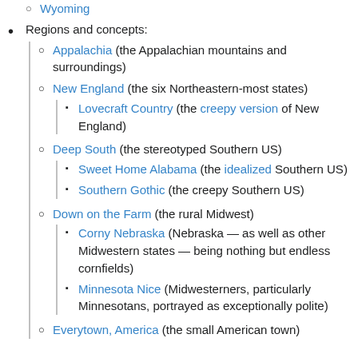Wyoming
Regions and concepts:
Appalachia (the Appalachian mountains and surroundings)
New England (the six Northeastern-most states)
Lovecraft Country (the creepy version of New England)
Deep South (the stereotyped Southern US)
Sweet Home Alabama (the idealized Southern US)
Southern Gothic (the creepy Southern US)
Down on the Farm (the rural Midwest)
Corny Nebraska (Nebraska — as well as other Midwestern states — being nothing but endless cornfields)
Minnesota Nice (Midwesterners, particularly Minnesotans, portrayed as exceptionally polite)
Everytown, America (the small American town)